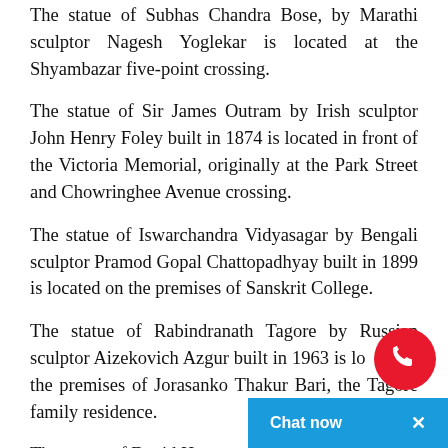The statue of Subhas Chandra Bose, by Marathi sculptor Nagesh Yoglekar is located at the Shyambazar five-point crossing.
The statue of Sir James Outram by Irish sculptor John Henry Foley built in 1874 is located in front of the Victoria Memorial, originally at the Park Street and Chowringhee Avenue crossing.
The statue of Iswarchandra Vidyasagar by Bengali sculptor Pramod Gopal Chattopadhyay built in 1899 is located on the premises of Sanskrit College.
The statue of Rabindranath Tagore by Russian sculptor Aizekovich Azgur built in 1963 is located at the premises of Jorasanko Thakur Bari, the Tagore family residence.
The statue of David Hare was b[cut off]